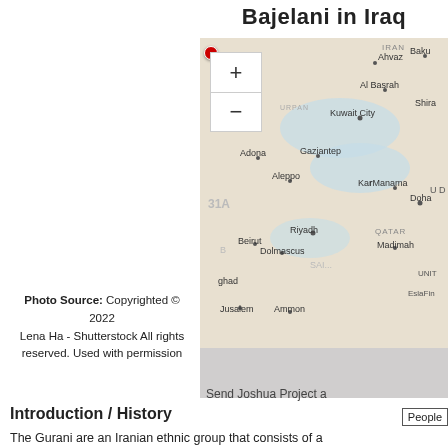Bajelani in Iraq
[Figure (map): Interactive map showing the Middle East region including Iraq, Iran, Kuwait, Saudi Arabia, Syria, Jordan. A red marker dot is visible in the upper left area of the map. Zoom in (+) and zoom out (-) controls are visible on the left side of the map.]
Photo Source:  Copyrighted © 2022
Lena Ha - Shutterstock  All rights reserved.  Used with permission
Send Joshua Project a
Introduction / History
The Gurani are an Iranian ethnic group that consists of a number of
People